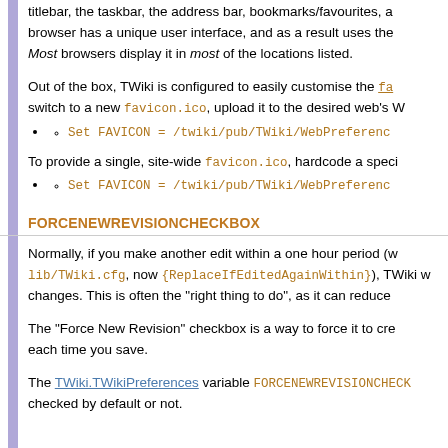titlebar, the taskbar, the address bar, bookmarks/favourites, a browser has a unique user interface, and as a result uses the Most browsers display it in most of the locations listed.
Out of the box, TWiki is configured to easily customise the favicon.ico, switch to a new favicon.ico, upload it to the desired web's W
Set FAVICON = /twiki/pub/TWiki/WebPreferenc
To provide a single, site-wide favicon.ico, hardcode a speci
Set FAVICON = /twiki/pub/TWiki/WebPreferenc
FORCENEWREVISIONCHECKBOX
Normally, if you make another edit within a one hour period (was lib/TWiki.cfg, now {ReplaceIfEditedAgainWithin}), TWiki w changes. This is often the "right thing to do", as it can reduce
The "Force New Revision" checkbox is a way to force it to cre each time you save.
The TWiki.TWikiPreferences variable FORCENEWREVISIONCHECK checked by default or not.